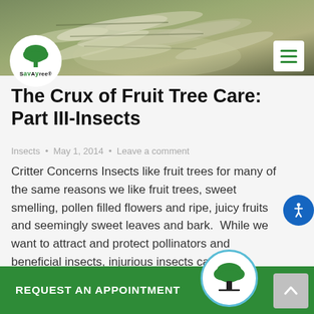[Figure (photo): Close-up photo of caterpillars on a leaf or branch, greenish-brown background]
[Figure (logo): SavATree logo — green tree icon above the word SAVATREE in black with a registered trademark symbol]
The Crux of Fruit Tree Care: Part III-Insects
Insects • May 1, 2014 • Leave a comment
Critter Concerns Insects like fruit trees for many of the same reasons we like fruit trees, sweet smelling, pollen filled flowers and ripe, juicy fruits and seemingly sweet leaves and bark.  While we want to attract and protect pollinators and beneficial insects, injurious insects can cause serious damage, inhibiting fruit production or fouling fruit, stunting or gnarling...
REQUEST AN APPOINTMENT